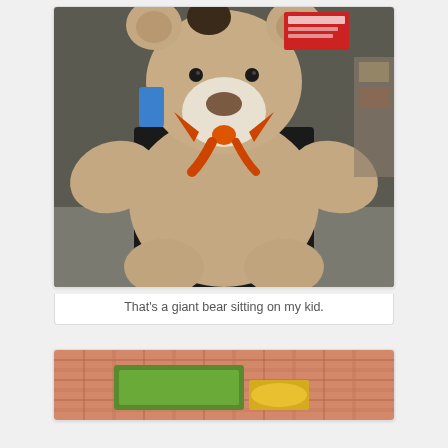[Figure (photo): A giant stuffed teddy bear with an orange bow/ribbon around its neck, sitting on a chair or seat. A child can be partially seen behind/under the bear. The bear is large, tan/beige in color with a white muzzle. Background shows what appears to be a store or public space.]
That's a giant bear sitting on my kid.
[Figure (photo): Partial view of what appears to be a packaged food product with a plaid/checkered pattern background and a green label visible.]